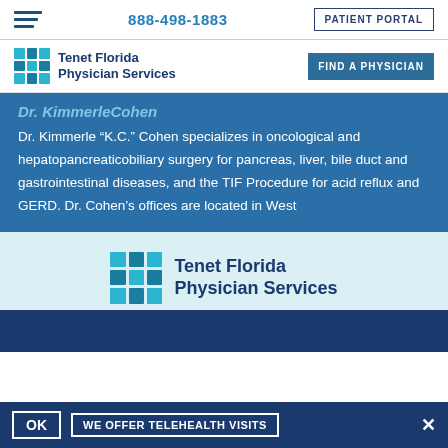888-498-1883 | PATIENT PORTAL
[Figure (logo): Tenet Florida Physician Services logo with teal grid icon]
Dr. KimmerleCohen
Dr. Kimmerle “K.C.” Cohen specializes in oncological and hepatopancreaticobiliary surgery for pancreas, liver, bile duct and gastrointestinal diseases, and the TIF Procedure for acid reflux and GERD. Dr. Cohen’s offices are located in West
[Figure (logo): Tenet Florida Physician Services logo repeated in light blue section]
OK | WE OFFER TELEHEALTH VISITS